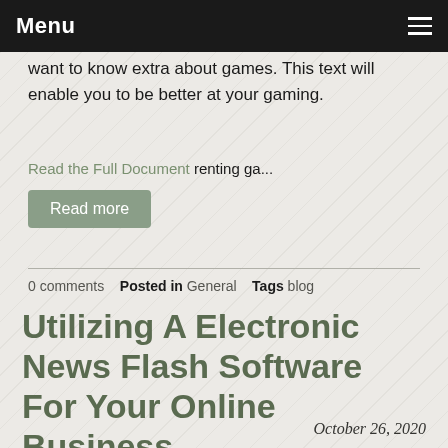Menu
want to know extra about games. This text will enable you to be better at your gaming.
Read the Full Document renting ga...
Read more
0 comments  Posted in General  Tags blog
Utilizing A Electronic News Flash Software For Your Online Business
October 26, 2020